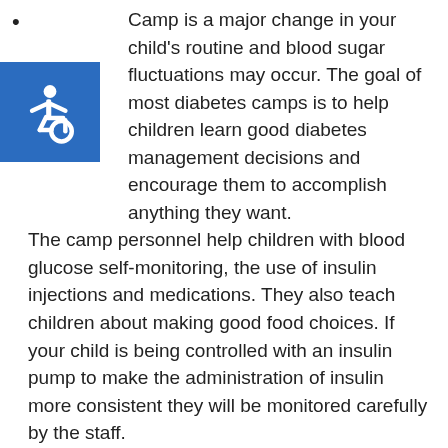Camp is a major change in your child's routine and blood sugar fluctuations may occur. The goal of most diabetes camps is to help children learn good diabetes management decisions and encourage them to accomplish anything they want. The camp personnel help children with blood glucose self-monitoring, the use of insulin injections and medications. They also teach children about making good food choices. If your child is being controlled with an insulin pump to make the administration of insulin more consistent they will be monitored carefully by the staff.
[Figure (illustration): International Symbol of Access (wheelchair accessibility icon) — white figure in wheelchair on blue square background]
Ask the diabetes camp staff for a manual/care plan about how diabetes will be managed and what supplies need to be packed. Find out